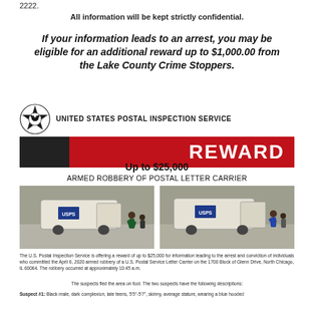2222.
All information will be kept strictly confidential.
If your information leads to an arrest, you may be eligible for an additional reward up to $1,000.00 from the Lake County Crime Stoppers.
[Figure (logo): United States Postal Inspection Service badge/star logo]
UNITED STATES POSTAL INSPECTION SERVICE
REWARD
Up to $25,000
ARMED ROBBERY OF POSTAL LETTER CARRIER
[Figure (photo): Two surveillance camera screenshots side by side showing a USPS postal truck and a letter carrier being robbed]
The U.S. Postal Inspection Service is offering a reward of up to $25,000 for information leading to the arrest and conviction of individuals who committed the April 6, 2020 armed robbery of a U.S. Postal Service Letter Carrier on the 1700 Block of Glenn Drive, North Chicago, IL 60064. The robbery occurred at approximately 10:45 a.m.
The suspects fled the area on foot. The two suspects have the following descriptions:
Suspect #1: Black male, dark complexion, late teens, 5'5"-5'7", skinny, average stature, wearing a blue hooded